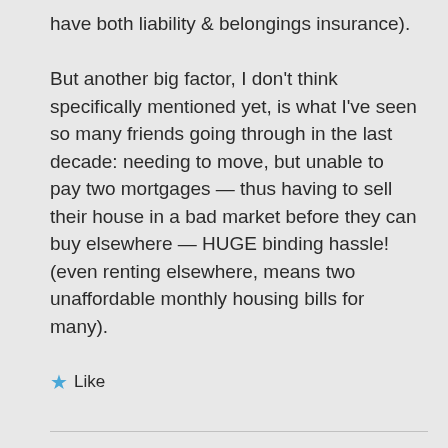have both liability & belongings insurance). But another big factor, I don't think specifically mentioned yet, is what I've seen so many friends going through in the last decade: needing to move, but unable to pay two mortgages — thus having to sell their house in a bad market before they can buy elsewhere — HUGE binding hassle! (even renting elsewhere, means two unaffordable monthly housing bills for many).
Like